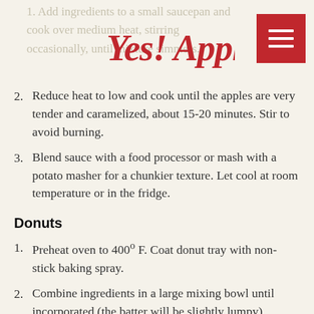Yes! Apples
1. Add ingredients to a small saucepan and cook over medium heat, stirring occasionally, until mixture simmers.
2. Reduce heat to low and cook until the apples are very tender and caramelized, about 15-20 minutes. Stir to avoid burning.
3. Blend sauce with a food processor or mash with a potato masher for a chunkier texture. Let cool at room temperature or in the fridge.
Donuts
1. Preheat oven to 400° F. Coat donut tray with non-stick baking spray.
2. Combine ingredients in a large mixing bowl until incorporated (the batter will be slightly lumpy).
3. Using a piping bag or a spoon, fill the donut